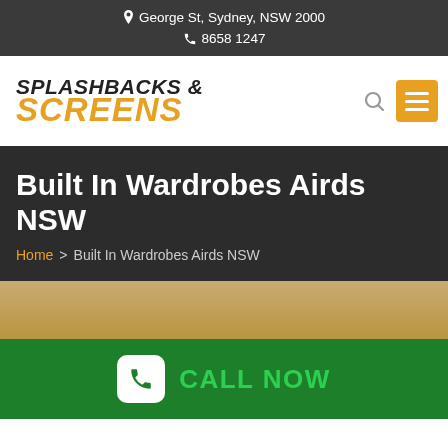📍 George St, Sydney, NSW 2000 | 📞 8658 1247
[Figure (logo): Splashbacks & Screens logo with italic bold text, SCREENS in orange/gold]
Built In Wardrobes Airds NSW
Home > Built In Wardrobes Airds NSW
[Figure (other): Decorative tan/gold color band]
CALL NOW